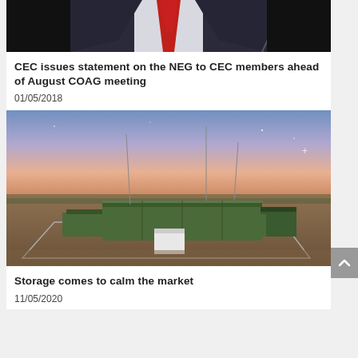[Figure (photo): Partial photo of a man in a dark suit with a red tie speaking at a microphone, cropped to show torso only]
CEC issues statement on the NEG to CEC members ahead of August COAG meeting
01/05/2018
[Figure (photo): Aerial photo at dusk/sunset of an industrial energy storage facility with green buildings surrounded by a security fence, in a dry rural landscape]
Storage comes to calm the market
11/05/2020